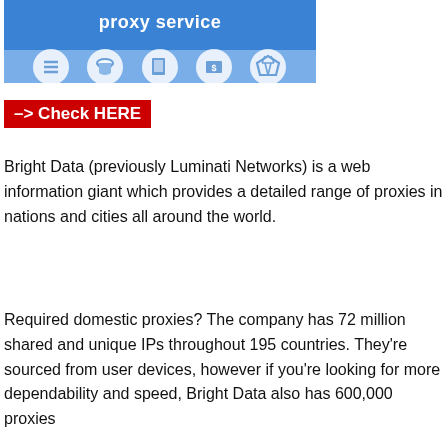[Figure (infographic): Blue banner with 'proxy service' title in bold white text and five circular icons below on a lighter blue background strip]
–> Check HERE
Bright Data (previously Luminati Networks) is a web information giant which provides a detailed range of proxies in nations and cities all around the world.
Required domestic proxies? The company has 72 million shared and unique IPs throughout 195 countries. They're sourced from user devices, however if you're looking for more dependability and speed, Bright Data also has 600,000 proxies